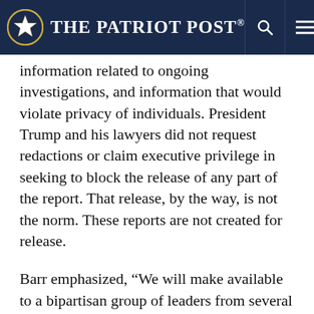The Patriot Post
information related to ongoing investigations, and information that would violate privacy of individuals. President Trump and his lawyers did not request redactions or claim executive privilege in seeking to block the release of any part of the report. That release, by the way, is not the norm. These reports are not created for release.
Barr emphasized, “We will make available to a bipartisan group of leaders from several Congressional committees a version of the report with all redactions removed except those relating to grand-jury information.” The more redacted version has been released to the public.
Now, stay tuned for the foreseeable future as pundits and armchair lawyers comb through Mueller’s report